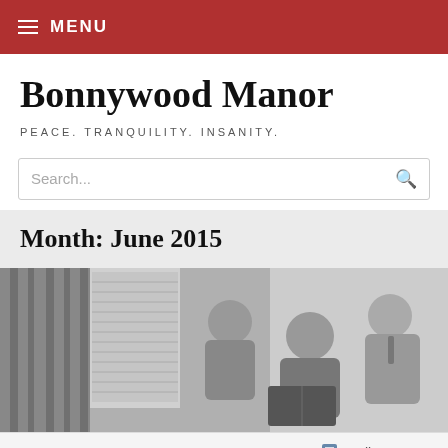MENU
Bonnywood Manor
PEACE. TRANQUILITY. INSANITY.
Search...
Month: June 2015
[Figure (photo): Black and white vintage photo of a woman reading a book to two children — a girl and a boy — seated next to her indoors near a curtained window.]
Follow ...